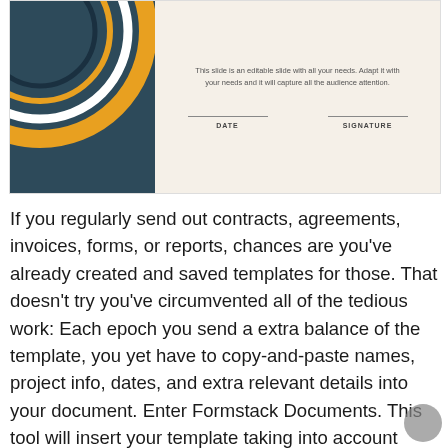[Figure (illustration): Partial view of a certificate template with a dark teal left panel featuring curved arc decorations in gold, white, and navy. The right cream-colored section contains small subtitle text and two signature fields labeled DATE and SIGNATURE.]
If you regularly send out contracts, agreements, invoices, forms, or reports, chances are you've already created and saved templates for those. That doesn't try you've circumvented all of the tedious work: Each epoch you send a extra balance of the template, you yet have to copy-and-paste names, project info, dates, and extra relevant details into your document. Enter Formstack Documents. This tool will insert your template taking into account unique data automatically, correspondingly you'll acquire customized, finished documents without tapping a single key. You can upload a template you've already made (Word docs, PDFs, spreadsheets, and PowerPoint